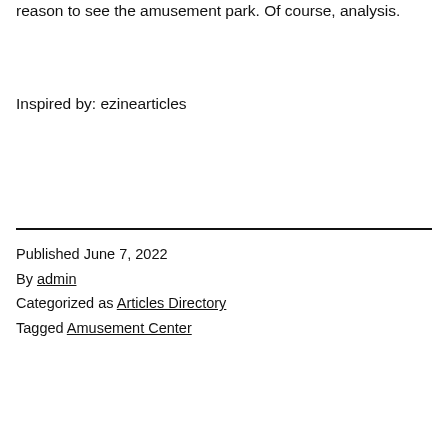reason to see the amusement park. Of course, analysis.
Inspired by: ezinearticles
Published June 7, 2022
By admin
Categorized as Articles Directory
Tagged Amusement Center